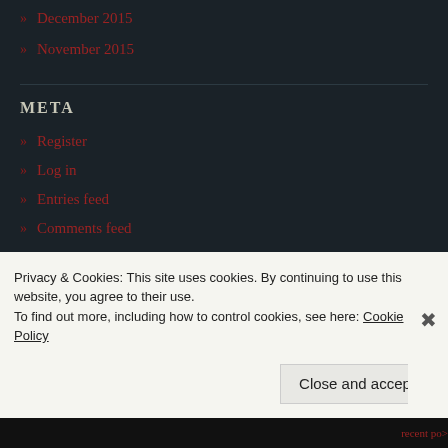» December 2015
» November 2015
META
» Register
» Log in
» Entries feed
» Comments feed
» WordPress.com
Privacy & Cookies: This site uses cookies. By continuing to use this website, you agree to their use.
To find out more, including how to control cookies, see here: Cookie Policy
Close and accept